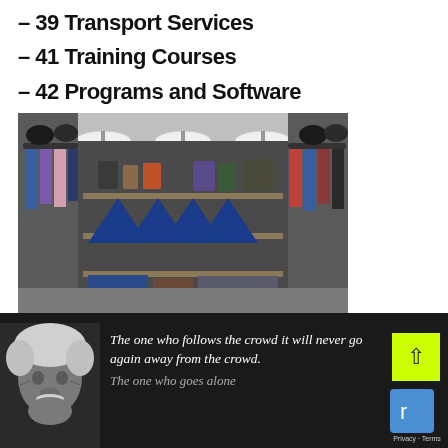– 39 Transport Services
– 41 Training Courses
– 42 Programs and Software
[Figure (photo): Interior of a clothing/retail store with hanging garments on racks on left and right sides, shelving unit in the center with geometric blue and white decorative panels, pendant lights hanging from ceiling, merchandise displayed on wooden shelves and tables.]
[Figure (photo): Black and white photo of an elderly man with wild white hair (resembling Einstein) in the bottom-left corner, beside a dark background with an italic quote in white text reading 'The one who follows the crowd it will never go again away from the crowd.' and beginning of next quote 'The one who goes alone'. A yellow/green scroll-up button and reCAPTCHA logo appear on the right.]
The one who follows the crowd it will never go again away from the crowd.
The one who goes alone